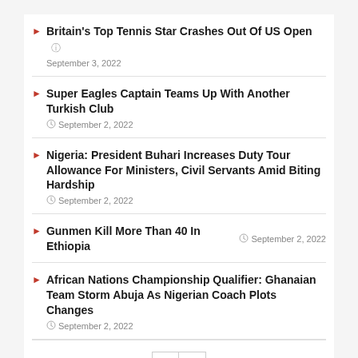Britain's Top Tennis Star Crashes Out Of US Open — September 3, 2022
Super Eagles Captain Teams Up With Another Turkish Club — September 2, 2022
Nigeria: President Buhari Increases Duty Tour Allowance For Ministers, Civil Servants Amid Biting Hardship — September 2, 2022
Gunmen Kill More Than 40 In Ethiopia — September 2, 2022
African Nations Championship Qualifier: Ghanaian Team Storm Abuja As Nigerian Coach Plots Changes — September 2, 2022